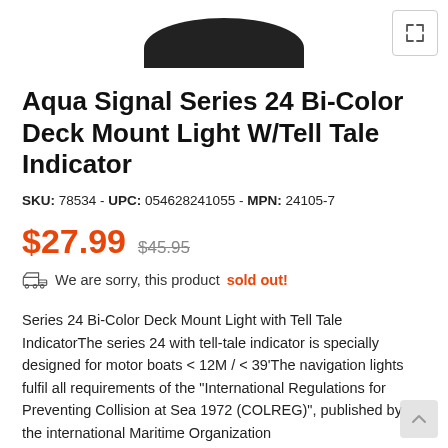[Figure (photo): Partial product image of Aqua Signal Series 24 Bi-Color Deck Mount Light, dark/black colored, shown from above cropped at top]
Aqua Signal Series 24 Bi-Color Deck Mount Light W/Tell Tale Indicator
SKU: 78534 - UPC: 054628241055 - MPN: 24105-7
$27.99  $45.95
We are sorry, this product sold out!
Series 24 Bi-Color Deck Mount Light with Tell Tale IndicatorThe series 24 with tell-tale indicator is specially designed for motor boats < 12M / < 39'The navigation lights fulfil all requirements of the "International Regulations for Preventing Collision at Sea 1972 (COLREG)", published by the international Maritime Organization